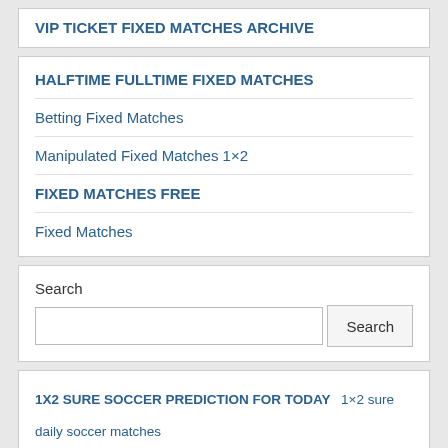VIP TICKET FIXED MATCHES ARCHIVE
HALFTIME FULLTIME FIXED MATCHES
Betting Fixed Matches
Manipulated Fixed Matches 1×2
FIXED MATCHES FREE
Fixed Matches
Search
1X2 SURE SOCCER PREDICTION FOR TODAY   1×2 sure daily soccer matches   1×2 Sure Matches   1×2 Sure Picks   1×2 Sure Tips   ADIBET   ADI BET   advice for betting   all for free   Analyze   Asian handicap tips   Best Daily Tips   Best Daily Tips Matches